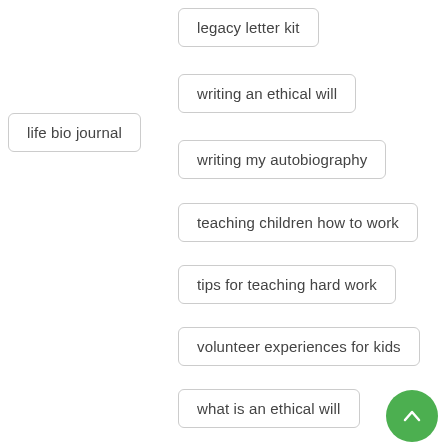legacy letter kit
writing an ethical will
life bio journal
writing my autobiography
teaching children how to work
tips for teaching hard work
volunteer experiences for kids
what is an ethical will
autobiography template
activities in retirement communities
new programs for retirement